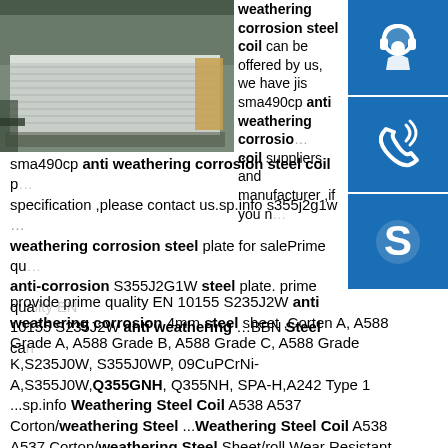[Figure (photo): Stack of steel sheets/coils in an industrial warehouse setting]
weathering corrosion steel coil can be offered by us, we have jis sma490cp anti weathering corrosion steel coil suppliers and manufacturer ,if you need sma490cp anti weathering corrosion steel coil price and specification ,please contact us.sp.info s355j2g1w weathering corrosion steel plate for salePrime quality anti-corrosion S355J2G1W steel plate. prime quality EN 10155 S235J2W anti weathering …BBN Steel can provide prime quality EN 10155 S235J2W anti weathering corrosion 4mm steel sheet ,Corten A, A588 Grade A, A588 Grade B, A588 Grade C, A588 Grade K,S235J0W, S355J0WP, 09CuPCrNi-A,S355J0W,Q355GNH, Q355NH, SPA-H,A242 Type 1 ...sp.info Weathering Steel Coil A538 A537 Corton/weathering Steel ...Weathering Steel Coil A538 A537 Corton/weathering Steel Sheet/roll Wear Resistant Steel Plate Find Complete Details about Weathering